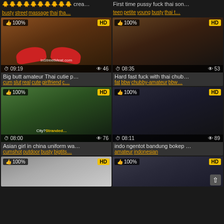... crea... | First time pussy fuck thai son...
busty street massage thai tha... | teen petite young busty thai t...
[Figure (screenshot): Video thumbnail showing legs in red heels, InStreetMeat.com watermark, duration 09:19, views 46, HD badge, 100% like]
[Figure (screenshot): Video thumbnail showing two people, duration 08:35, views 53, HD badge, 100% like]
Big butt amateur Thai cutie p...
cum slut real cute girlfriend c...
Hard fast fuck with thai chub...
fat bbw chubby-amateur bbw...
[Figure (screenshot): Video thumbnail showing woman at car window, City? watermark, Stranded... watermark, duration 08:00, views 76, HD badge, 100% like]
[Figure (screenshot): Video thumbnail showing woman in dark room, duration 08:11, views 89, HD badge, 100% like]
Asian girl in china uniform wa...
cumshot outdoor busty bigtits...
indo ngentot bandung bokep ...
amateur indonesian
[Figure (screenshot): Video thumbnail partially visible, HD badge, 100% like]
[Figure (screenshot): Video thumbnail partially visible, HD badge, 100% like, scroll-up button]